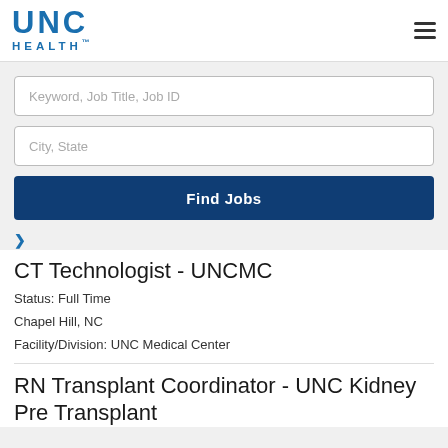[Figure (logo): UNC Health logo — blue letters 'UNC' above 'HEALTH.' in blue]
Keyword, Job Title, Job ID
City, State
Find Jobs
CT Technologist - UNCMC
Status: Full Time
Chapel Hill, NC
Facility/Division: UNC Medical Center
RN Transplant Coordinator - UNC Kidney Pre Transplant